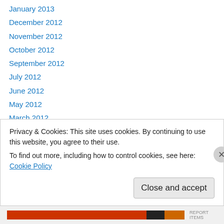January 2013
December 2012
November 2012
October 2012
September 2012
July 2012
June 2012
May 2012
March 2012
February 2012
January 2012
November 2011
October 2011
Privacy & Cookies: This site uses cookies. By continuing to use this website, you agree to their use.
To find out more, including how to control cookies, see here: Cookie Policy
Close and accept